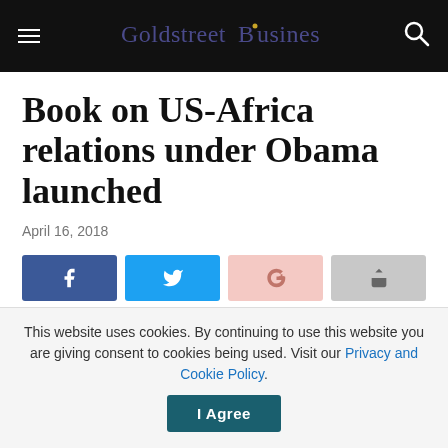Goldstreet Business
Book on US-Africa relations under Obama launched
April 16, 2018
[Figure (other): Social media share buttons: Facebook, Twitter, Google+, Share]
The Africa Society of the National Summit on Africa, a non-governmental organization, has launched a book on US-Africa relations under the Obama
This website uses cookies. By continuing to use this website you are giving consent to cookies being used. Visit our Privacy and Cookie Policy.